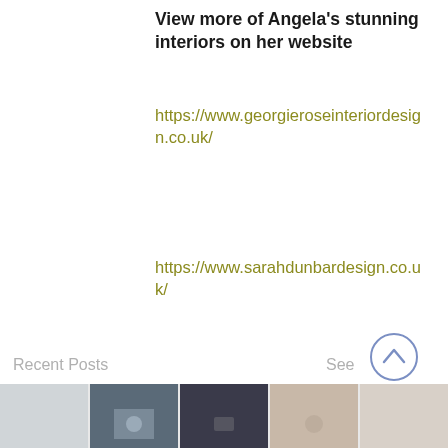View more of Angela's stunning interiors on her website
https://www.georgieroseinteriordesign.co.uk/
https://www.sarahdunbardesign.co.uk/
[Figure (infographic): Facebook and Twitter share icons in light gray]
Recent Posts
See All
[Figure (photo): Grid of recent post thumbnail images including autumn gifts post and food/lifestyle photos]